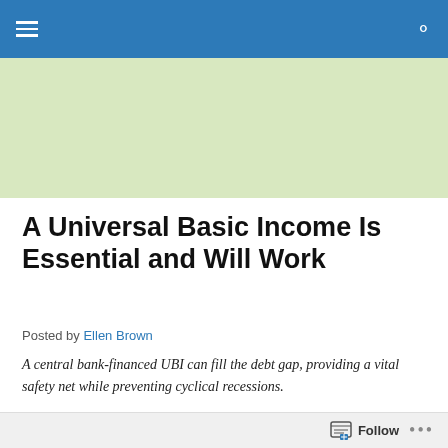The Web of Debt Blog — navigation bar
[Figure (logo): The Web of Debt Blog banner logo on a green money-themed background]
A Universal Basic Income Is Essential and Will Work
Posted by Ellen Brown
A central bank-financed UBI can fill the debt gap, providing a vital safety net while preventing cyclical recessions.
According to an April 6 article on CNBC.com, Spain is
Follow